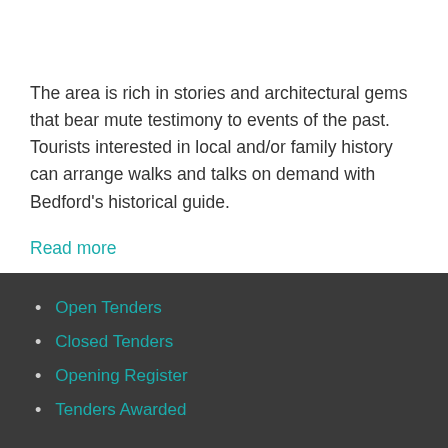The area is rich in stories and architectural gems that bear mute testimony to events of the past. Tourists interested in local and/or family history can arrange walks and talks on demand with Bedford's historical guide.
Read more
Open Tenders
Closed Tenders
Opening Register
Tenders Awarded